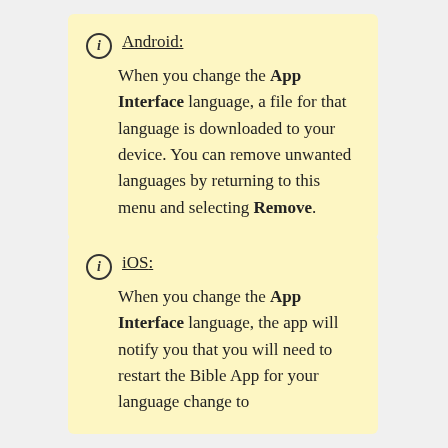Android: When you change the App Interface language, a file for that language is downloaded to your device. You can remove unwanted languages by returning to this menu and selecting Remove.
iOS: When you change the App Interface language, the app will notify you that you will need to restart the Bible App for your language change to